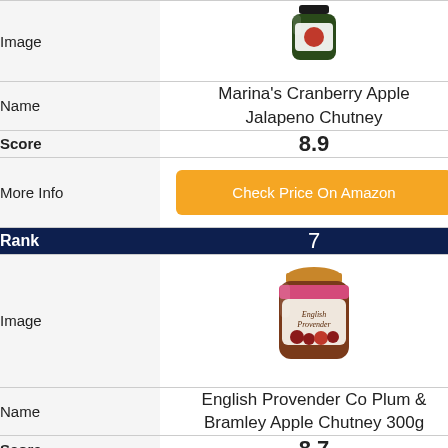| Field | Value |
| --- | --- |
| Image | [product image: jar] |
| Name | Marina's Cranberry Apple Jalapeno Chutney |
| Score | 8.9 |
| More Info | Check Price On Amazon |
| Rank | 7 |
| Image | [product image: English Provender jar] |
| Name | English Provender Co Plum & Bramley Apple Chutney 300g |
| Score | 8.7 |